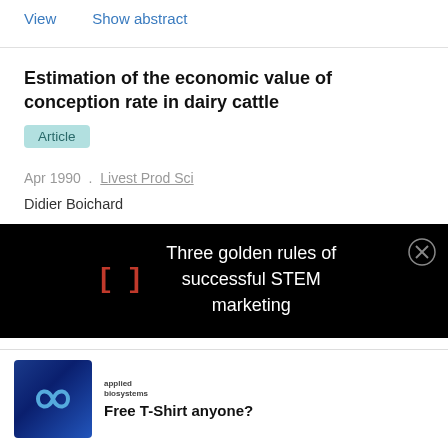View   Show abstract
Estimation of the economic value of conception rate in dairy cattle
Article
Apr 1990 . Livest Prod Sci
Didier Boichard
View   Show abstract
[Figure (other): Popup overlay ad with bracket logo and text: Three golden rules of successful STEM marketing, with close button]
[Figure (other): Applied Biosystems advertisement banner with infinity logo and text: Free T-Shirt anyone?]